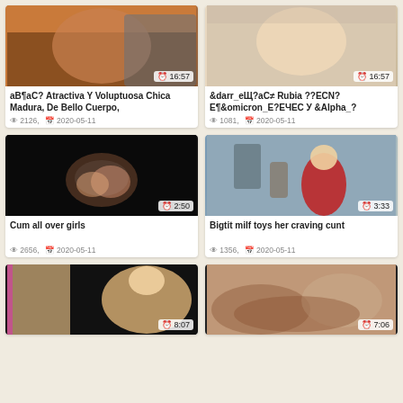[Figure (screenshot): Video thumbnail top-left, woman from behind, duration 16:57]
аВ¶аС? Atractiva Y Voluptuosa Chica Madura, De Bello Cuerpo,
👁 2126,  📅 2020-05-11
[Figure (screenshot): Video thumbnail top-right, blonde woman, duration 16:57]
&darr_еЩ?аС≠ Rubia ??ЕСN?Е¶&omicron_Е?ЕЧЕС У &Alpha_?
👁 1081,  📅 2020-05-11
[Figure (screenshot): Video thumbnail mid-left, dark blurry image, duration 2:50]
Cum all over girls
👁 2656,  📅 2020-05-11
[Figure (screenshot): Video thumbnail mid-right, woman in red dress, duration 3:33]
Bigtit milf toys her craving cunt
👁 1356,  📅 2020-05-11
[Figure (screenshot): Video thumbnail bottom-left, blonde woman in bikini, duration 8:07]
[Figure (screenshot): Video thumbnail bottom-right, close-up skin tones, duration 7:06]